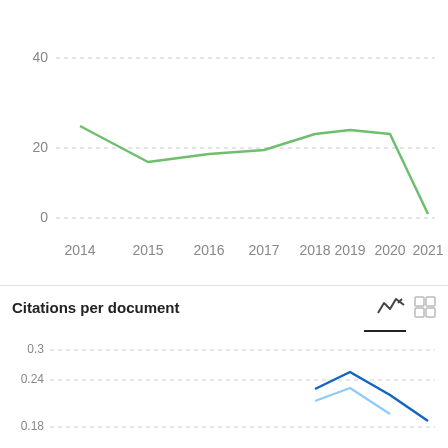[Figure (line-chart): Total documents (partial, top portion)]
Citations per document
[Figure (line-chart): Citations per document]